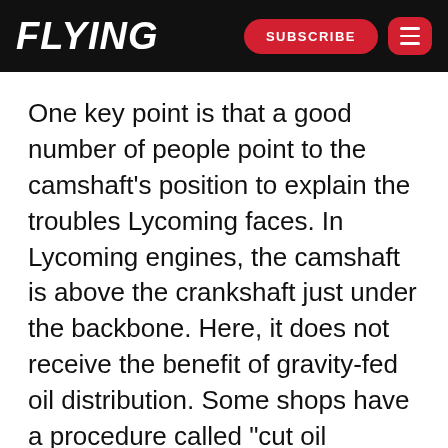FLYING | SUBSCRIBE
One key point is that a good number of people point to the camshaft’s position to explain the troubles Lycoming faces. In Lycoming engines, the camshaft is above the crankshaft just under the backbone. Here, it does not receive the benefit of gravity-fed oil distribution. Some shops have a procedure called “cut oil groove” (COG), in which a hacksaw blade makes a small slit near the camshaft to allow greater oil flow. I may or may not know anything about that.